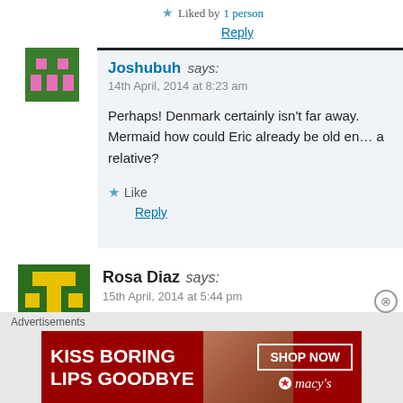★ Liked by 1 person
Reply
[Figure (illustration): Pixel art avatar for Joshubuh, green background with pink pixel design]
Joshubuh says:
14th April, 2014 at 8:23 am

Perhaps! Denmark certainly isn't far away. Mermaid how could Eric already be old en... a relative?
Like
Reply
[Figure (illustration): Pixel art avatar for Rosa Diaz, green and yellow pixel design]
Rosa Diaz says:
15th April, 2014 at 5:44 pm
Advertisements
[Figure (photo): Macy's advertisement: KISS BORING LIPS GOODBYE, SHOP NOW, Macy's logo on red background with woman's face]